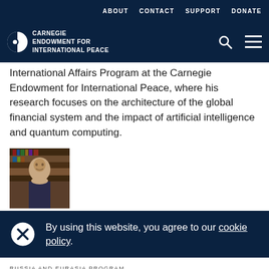ABOUT   CONTACT   SUPPORT   DONATE
[Figure (logo): Carnegie Endowment for International Peace logo with search and menu icons]
International Affairs Program at the Carnegie Endowment for International Peace, where his research focuses on the architecture of the global financial system and the impact of artificial intelligence and quantum computing.
[Figure (photo): Profile photo of a man seated in front of bookshelves]
By using this website, you agree to our cookie policy.
RUSSIA AND EURASIA PROGRAM
Rajan Menon is a nonresident scholar in the Russia and